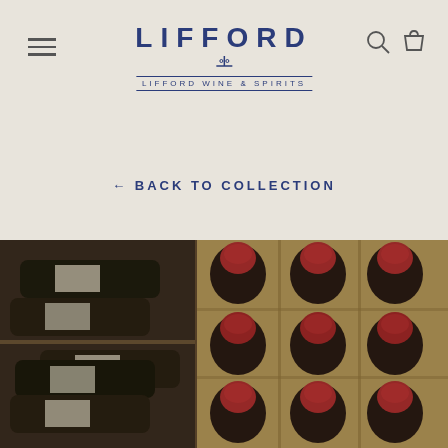[Figure (logo): Lifford Wine & Spirits logo with hamburger menu, search and cart icons]
← BACK TO COLLECTION
[Figure (photo): Two cardboard boxes of wine bottles — left box showing wine bottles with white labels lying horizontally, right box showing wine bottles standing upright with red capsules]